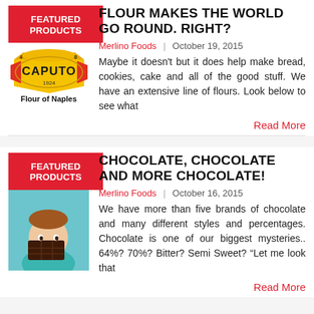[Figure (logo): Featured Products badge (red) and Caputo Flour of Naples logo]
FLOUR MAKES THE WORLD GO ROUND. RIGHT?
Merlino Foods  |  October 19, 2015
Maybe it doesn't but it does help make bread, cookies, cake and all of the good stuff. We have an extensive line of flours. Look below to see what
Read More
[Figure (photo): Featured Products badge (red) and photo of child eating large chocolate bar]
CHOCOLATE, CHOCOLATE AND MORE CHOCOLATE!
Merlino Foods  |  October 16, 2015
We have more than five brands of chocolate and many different styles and percentages. Chocolate is one of our biggest mysteries.. 64%? 70%? Bitter? Semi Sweet? "Let me look that
Read More